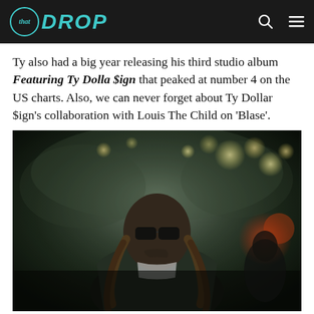that DROP
Ty also had a big year releasing his third studio album Featuring Ty Dolla $ign that peaked at number 4 on the US charts. Also, we can never forget about Ty Dollar $ign's collaboration with Louis The Child on 'Blase'.
[Figure (photo): Man with long braided hair wearing sunglasses and a dark patterned jacket, standing outdoors with blurred lights in the background]